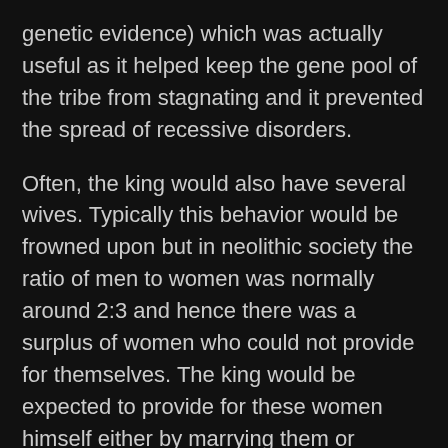genetic evidence) which was actually useful as it helped keep the gene pool of the tribe from stagnating and it prevented the spread of recessive disorders.
Often, the king would also have several wives. Typically this behavior would be frowned upon but in neolithic society the ratio of men to women was normally around 2:3 and hence there was a surplus of women who could not provide for themselves. The king would be expected to provide for these women himself either by marrying them or arranging a marriage with the leader of another tribe. Ergo, polygamy was acceptable under very specific circumstances.
Varg Vikernes did an excellent video on this topic: